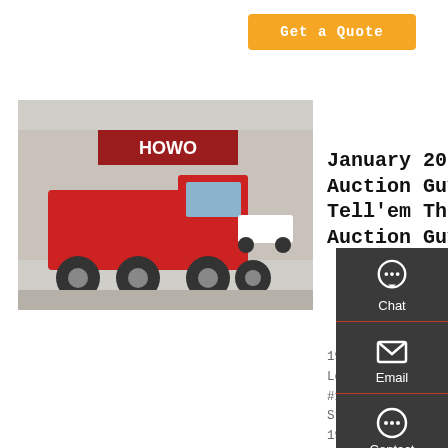Get a Quote
[Figure (photo): Red Howo semi-truck/tractor unit parked in front of a HOWO dealership building]
January 2021 - Auction Guy | Tell'em The Auction Guy Sent
1977 Topps Strikeout Leaders #6 1966 Koufax #100 1. 1977 Topps Strikeout Leaders #6 1966 Koufax #100 1988 Spahn #494 Condition: All three are in fair condition - see images for details. Cond...